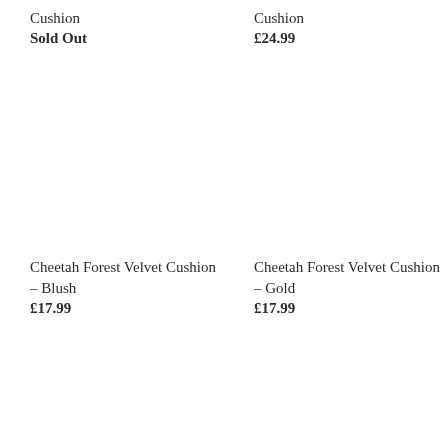Cushion
Cushion
Sold Out
£24.99
Cheetah Forest Velvet Cushion – Blush
Cheetah Forest Velvet Cushion – Gold
£17.99
£17.99